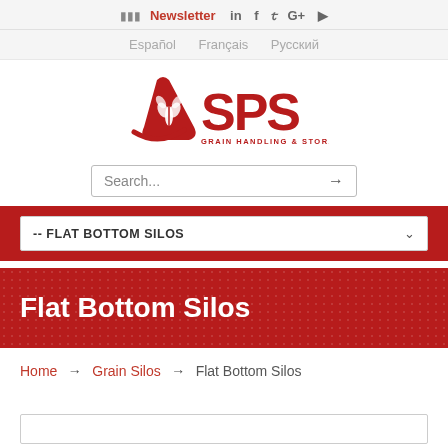Newsletter  in  f  y  G+  ▶
Español  Français  Русский
[Figure (logo): SPS Grain Handling & Storage Solutions logo in red with wheat grain icon]
Search...
-- FLAT BOTTOM SILOS
Flat Bottom Silos
Home → Grain Silos → Flat Bottom Silos